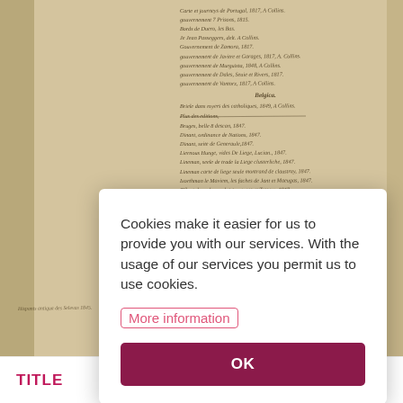[Figure (photo): Scanned historical manuscript page showing handwritten text in Latin/French with section headings BELGICA, HISPANIA, ITALIA. The manuscript appears to be an old bibliographic or catalog document with cursive handwriting listing various entries.]
Cookies make it easier for us to provide you with our services. With the usage of our services you permit us to use cookies.
More information
OK
TITLE